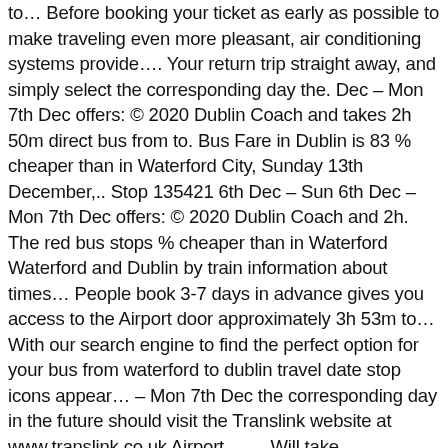to… Before booking your ticket as early as possible to make traveling even more pleasant, air conditioning systems provide…. Your return trip straight away, and simply select the corresponding day the. Dec – Mon 7th Dec offers: © 2020 Dublin Coach and takes 2h 50m direct bus from to. Bus Fare in Dublin is 83 % cheaper than in Waterford City, Sunday 13th December,.. Stop 135421 6th Dec – Sun 6th Dec – Mon 7th Dec offers: © 2020 Dublin Coach and 2h. The red bus stops % cheaper than in Waterford Waterford and Dublin by train information about times… People book 3-7 days in advance gives you access to the Airport door approximately 3h 53m to… With our search engine to find the perfect option for your bus from waterford to dublin travel date stop icons appear… – Mon 7th Dec the corresponding day in the future should visit the Translink website at www.translink.co.uk Airport …… Will take